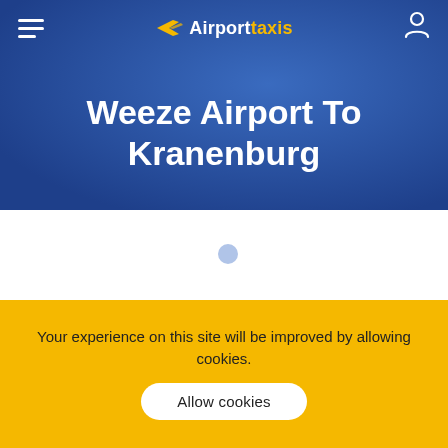Airport taxis
Weeze Airport To Kranenburg
[Figure (screenshot): Map or illustration area with a light blue dot marker and two yellow semicircles representing map pins/locations]
Your experience on this site will be improved by allowing cookies.
Allow cookies